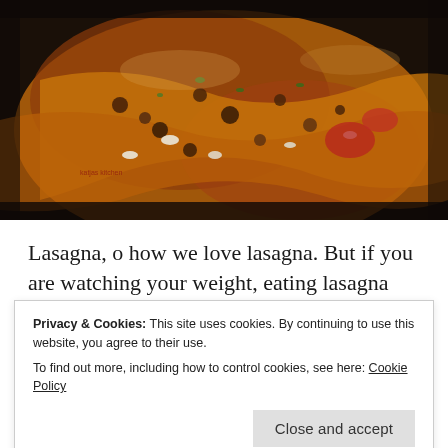[Figure (photo): Close-up photo of lasagna dish with meat sauce, pasta layers, white cheese crumbles, and green herbs on top, in a baking dish on a dark surface.]
Lasagna, o how we love lasagna. But if you are watching your weight, eating lasagna more that once
Privacy & Cookies: This site uses cookies. By continuing to use this website, you agree to their use.
To find out more, including how to control cookies, see here: Cookie Policy
Close and accept
replaced ricotta cheese with cottage cheese, so good. I